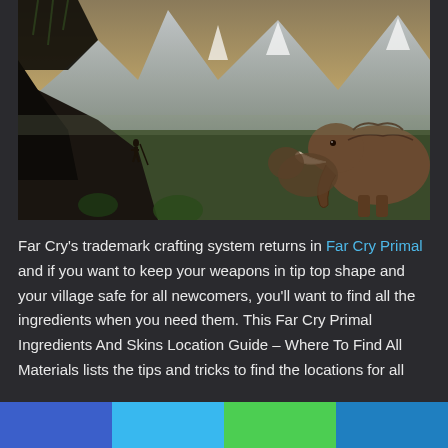[Figure (illustration): Far Cry Primal game artwork showing a warrior standing on rocky terrain overlooking a vast prehistoric landscape with mountains, a lake, and woolly mammoths on the right side.]
Far Cry's trademark crafting system returns in Far Cry Primal and if you want to keep your weapons in tip top shape and your village safe for all newcomers, you'll want to find all the ingredients when you need them. This Far Cry Primal Ingredients And Skins Location Guide – Where To Find All Materials lists the tips and tricks to find the locations for all